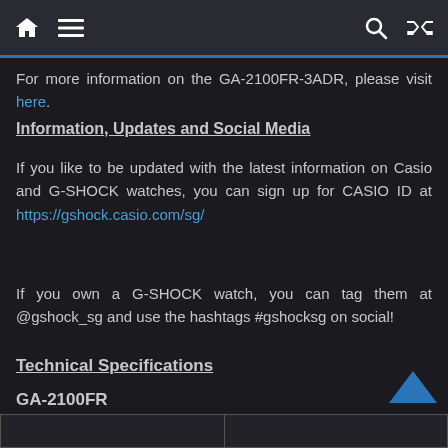Navigation bar with home, menu, search, and shuffle icons
For more information on the GA-2100FR-3ADR, please visit here.
Information, Updates and Social Media
If you like to be updated with the latest information on Casio and G-SHOCK watches, you can sign up for CASIO ID at https://gshock.casio.com/sg/
If you own a G-SHOCK watch, you can tag them at @gshock_sg and use the hashtags #gshocksg on social!
Technical Specifications
GA-2100FR